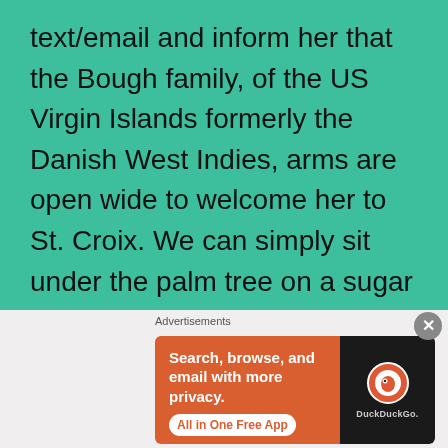text/email and inform her that the Bough family, of the US Virgin Islands formerly the Danish West Indies, arms are open wide to welcome her to St. Croix. We can simply sit under the palm tree on a sugar sandy beach with a tall cool glass of coconut water and have a chat about the Bough/Baugh ancestors.
Resources:
[Figure (other): DuckDuckGo advertisement banner with orange background showing 'Search, browse, and email with more privacy. All in One Free App' text and DuckDuckGo logo on a dark phone mockup]